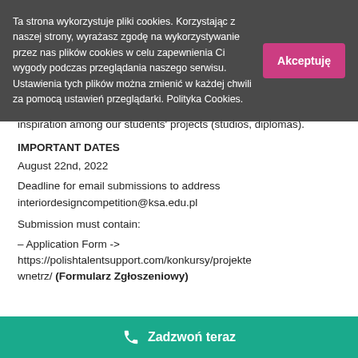Ta strona wykorzystuje pliki cookies. Korzystając z naszej strony, wyrażasz zgodę na wykorzystywanie przez nas plików cookies w celu zapewnienia Ci wygody podczas przeglądania naszego serwisu. Ustawienia tych plików można zmienić w każdej chwili za pomocą ustawień przeglądarki. Polityka Cookies.
Akceptuję
inspiration among our students' projects (studios, diplomas).
IMPORTANT DATES
August 22nd, 2022
Deadline for email submissions to address interiordesigncompetition@ksa.edu.pl
Submission must contain:
– Application Form -> https://polishtalentsupport.com/konkursy/projekto wnetrz/ (Formularz Zgłoszeniowy)
Zadzwoń teraz